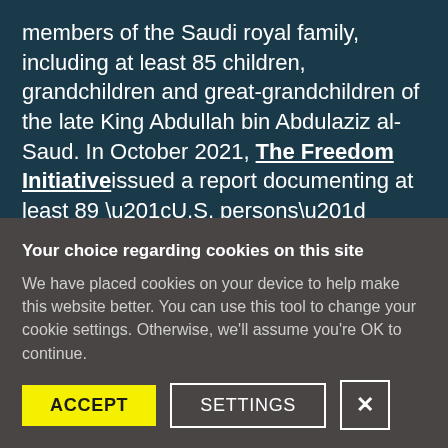members of the Saudi royal family, including at least 85 children, grandchildren and great-grandchildren of the late King Abdullah bin Abdulaziz al-Saud. In October 2021, The Freedom Initiative issued a report documenting at least 89 “U.S. persons” (American citizen or legal permanent resident) detained or on a travel ban in Saudi Arabia.
Your choice regarding cookies on this site
We have placed cookies on your device to help make this website better. You can use this tool to change your cookie settings. Otherwise, we'll assume you're OK to continue.
ACCEPT | SETTINGS | X